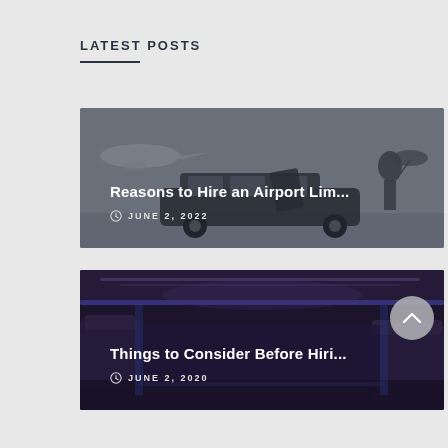LATEST POSTS
[Figure (photo): Post card 1: photo of a luxury black car with chauffeur at an airport, with jet in background. Overlaid title: 'Reasons to Hire an Airport Lim...' and date 'JUNE 2, 2022']
[Figure (photo): Post card 2: photo of a limo interior with purple/blue ambient lighting. Overlaid title: 'Things to Consider Before Hiri...' and date 'JUNE 2, 2020']